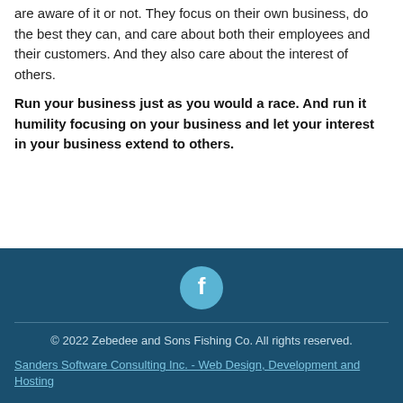are aware of it or not. They focus on their own business, do the best they can, and care about both their employees and their customers. And they also care about the interest of others.
Run your business just as you would a race. And run it humility focusing on your business and let your interest in your business extend to others.
[Figure (logo): Facebook icon circle button in teal/cyan color on dark teal footer background]
© 2022 Zebedee and Sons Fishing Co. All rights reserved.
Sanders Software Consulting Inc. - Web Design, Development and Hosting